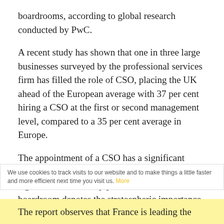boardrooms, according to global research conducted by PwC.
A recent study has shown that one in three large businesses surveyed by the professional services firm has filled the role of CSO, placing the UK ahead of the European average with 37 per cent hiring a CSO at the first or second management level, compared to a 35 per cent average in Europe.
The appointment of a CSO has a significant effect on a business’s ESG scores and the call for a greater sustainability presence in the boardroom denotes the stratospheric importance of such a role.
We use cookies to track visits to our website and to make things a little faster and more efficient next time you visit us. More
The report observes that France is leading the